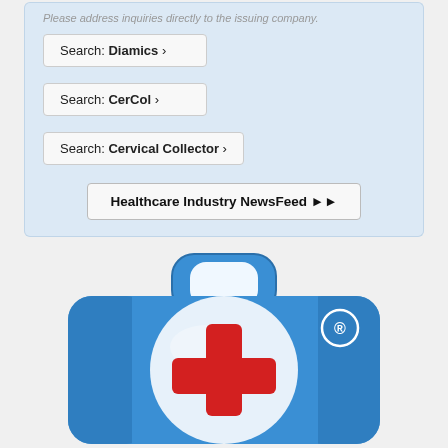Please address inquiries directly to the issuing company.
Search: Diamics ›
Search: CerCol ›
Search: Cervical Collector ›
Healthcare Industry NewsFeed ▶▶
[Figure (logo): Blue medical first-aid briefcase/kit icon with a white circular area containing a red plus/cross symbol, and a registered trademark symbol (R) on the upper right of the case. The case has a rounded rectangle shape with a handle on top.]